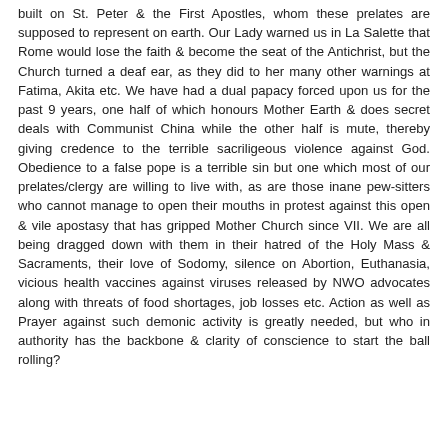built on St. Peter & the First Apostles, whom these prelates are supposed to represent on earth. Our Lady warned us in La Salette that Rome would lose the faith & become the seat of the Antichrist, but the Church turned a deaf ear, as they did to her many other warnings at Fatima, Akita etc. We have had a dual papacy forced upon us for the past 9 years, one half of which honours Mother Earth & does secret deals with Communist China while the other half is mute, thereby giving credence to the terrible sacriligeous violence against God. Obedience to a false pope is a terrible sin but one which most of our prelates/clergy are willing to live with, as are those inane pew-sitters who cannot manage to open their mouths in protest against this open & vile apostasy that has gripped Mother Church since VII. We are all being dragged down with them in their hatred of the Holy Mass & Sacraments, their love of Sodomy, silence on Abortion, Euthanasia, vicious health vaccines against viruses released by NWO advocates along with threats of food shortages, job losses etc. Action as well as Prayer against such demonic activity is greatly needed, but who in authority has the backbone & clarity of conscience to start the ball rolling?